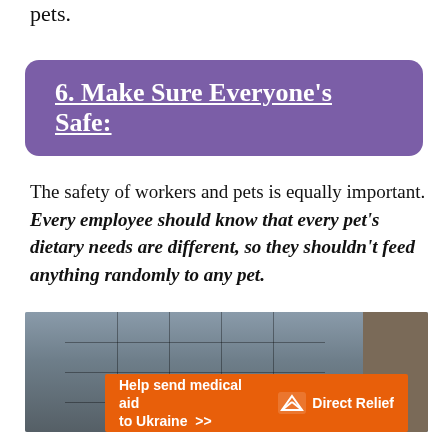pets.
6. Make Sure Everyone's Safe:
The safety of workers and pets is equally important. Every employee should know that every pet's dietary needs are different, so they shouldn't feed anything randomly to any pet.
[Figure (photo): Interior office or lobby space with large grid windows in the background, a dark chair silhouette, and a stone wall on the right side.]
Help send medical aid to Ukraine >> Direct Relief